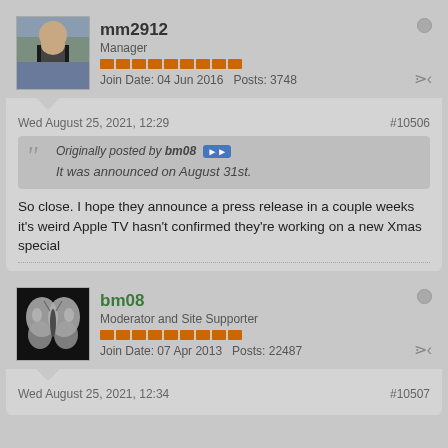mm2912
Manager
Join Date: 04 Jun 2016   Posts: 3748
Wed August 25, 2021, 12:29
#10506
Originally posted by bm08 — It was announced on August 31st.
So close. I hope they announce a press release in a couple weeks it's weird Apple TV hasn't confirmed they're working on a new Xmas special
bm08
Moderator and Site Supporter
Join Date: 07 Apr 2013   Posts: 22487
Wed August 25, 2021, 12:34
#10507